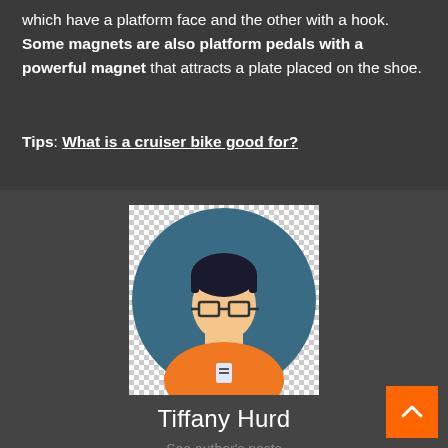which have a platform face and the other with a hook. Some magnets are also platform pedals with a powerful magnet that attracts a plate placed on the shoe.
Tips: What is a cruiser bike good for?
[Figure (illustration): Cartoon illustration of a person with glasses and dark hair wearing an orange shirt with a name badge, set against a teal/blue circular background]
Tiffany Hurd
See author's posts